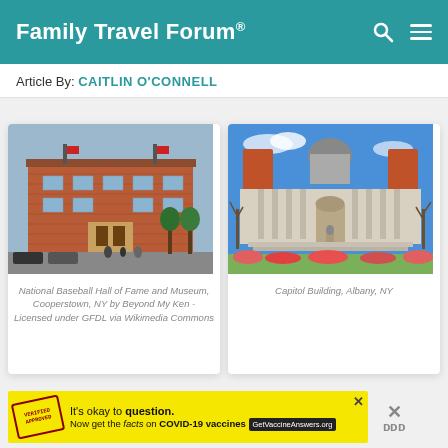Family Travel Forum®
Article By: CAITLIN O'CONNELL
[Figure (photo): National Baseball Hall of Fame and Museum building exterior, Cooperstown, NY. Brick building with people and cars on street.]
National Baseball Hall of Fame and Museum, Cooperstown, NY by Beyond My Ken -Licensed under GFDL via Wikimedia Commons
[Figure (photo): New York State Capitol Building in Albany, NY. Large ornate white stone building with blue sky background and flowers in foreground.]
Capitol Building, Albany, NY
It's okay to question. Now get the facts on COVID-19 vaccines GetVaccineAnswers.org